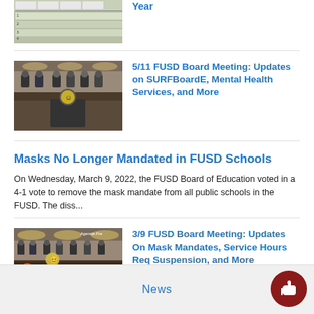[Figure (screenshot): Partial thumbnail of a board meeting table-related image, cropped at top]
Year
[Figure (screenshot): Screenshot of FUSD board meeting with people seated at a long table, one figure in foreground with a yellow circle emoji overlay]
5/11 FUSD Board Meeting: Updates on SURFBoardE, Mental Health Services, and More
Masks No Longer Mandated in FUSD Schools
On Wednesday, March 9, 2022, the FUSD Board of Education voted in a 4-1 vote to remove the mask mandate from all public schools in the FUSD. The diss...
[Figure (screenshot): Screenshot of FUSD board meeting room with people seated at a curved table, emoji face overlay, person in orange in foreground, Agenda Fre text visible]
3/9 FUSD Board Meeting: Updates On Mask Mandates, Service Hours Req Suspension, and More
News